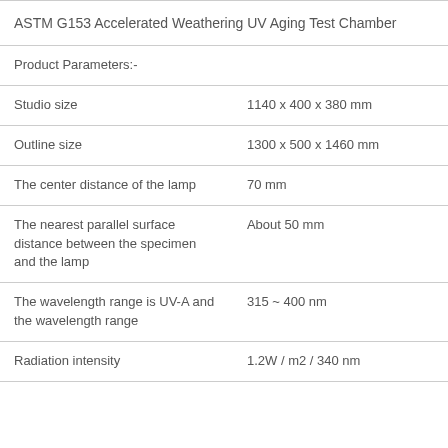ASTM G153 Accelerated Weathering UV Aging Test Chamber
Product Parameters:-
|  |  |
| --- | --- |
| Studio size | 1140 x 400 x 380 mm |
| Outline size | 1300 x 500 x 1460 mm |
| The center distance of the lamp | 70 mm |
| The nearest parallel surface distance between the specimen and the lamp | About 50 mm |
| The wavelength range is UV-A and the wavelength range | 315 ~ 400 nm |
| Radiation intensity | 1.2W / m2 / 340 nm |